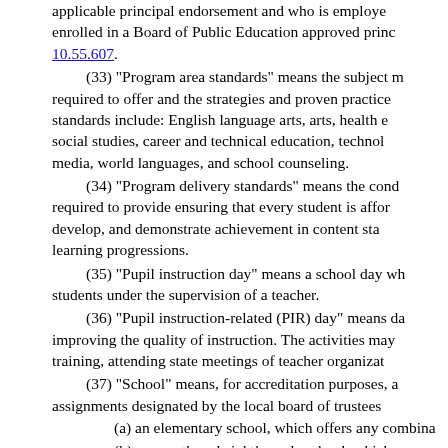applicable principal endorsement and who is employed or enrolled in a Board of Public Education approved principal preparation program pursuant to 10.55.607.
(33) "Program area standards" means the subject matter required to offer and the strategies and proven practices. Standards include: English language arts, arts, health education, social studies, career and technical education, technology, library media, world languages, and school counseling.
(34) "Program delivery standards" means the conditions required to provide ensuring that every student is afforded the opportunity to develop, and demonstrate achievement in content standards through learning progressions.
(35) "Pupil instruction day" means a school day when students are under the supervision of a teacher.
(36) "Pupil instruction-related (PIR) day" means days for improving the quality of instruction. The activities may include training, attending state meetings of teacher organizations.
(37) "School" means, for accreditation purposes, all assignments designated by the local board of trustees including:
(a) an elementary school, which offers any combination...
(b) a seventh and eighth grade school, which comprises grades 7 and 8 that may be funded at the high school...
(c) a junior high school, which offers the basic education...
(d) a middle school, which offers education programs or combination thereof; and
(e) a high school, which offers the education...